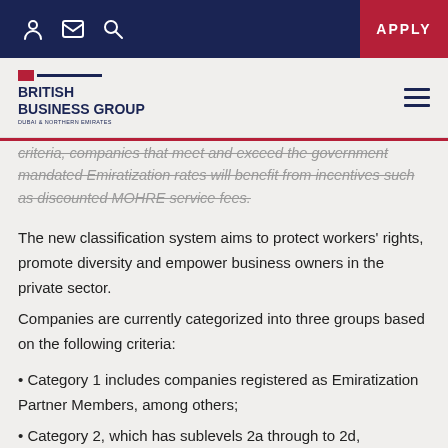APPLY
[Figure (logo): British Business Group Dubai & Northern Emirates logo with UK flag motif]
criteria, companies that meet and exceed the government mandated Emiratization rates will benefit from incentives such as discounted MOHRE service fees.
The new classification system aims to protect workers' rights, promote diversity and empower business owners in the private sector.
Companies are currently categorized into three groups based on the following criteria:
• Category 1 includes companies registered as Emiratization Partner Members, among others;
• Category 2, which has sublevels 2a through to 2d,